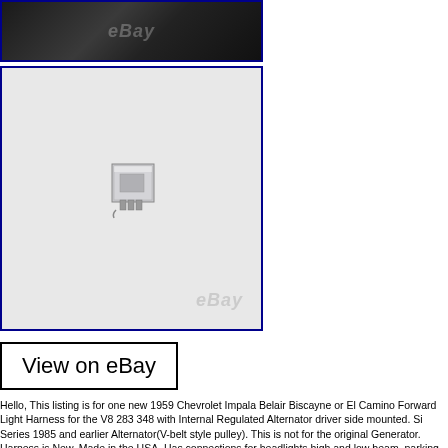[Figure (photo): Top photo showing dark wiring harness with cables on dark background, eBay watermark visible]
[Figure (photo): Photo of a small electrical relay/component (square silver/metal relay) on white/light gray background, eBay watermark visible]
[Figure (screenshot): View on eBay button - black bordered rectangle with text 'View on eBay']
Hello, This listing is for one new 1959 Chevrolet Impala Belair Biscayne or El Camino Forward Light Harness for the V8 283 348 with Internal Regulated Alternator driver side mounted. Si Series 1985 and earlier Alternator(V-belt style pulley). This is not for the original Generator. Harness is New, Made in the USA. Has connections for headlights high and low beam, parking lights/turn signals, alternator, horn relay, horns and ground wires that connect to radiator support. Connects at fuse box/fire wall area. Has all the correct colors, lengths, plastic clips as original with the addition of being converted to Internal Regulated Alternator. Fits: 1959 Chevy Impala Belair Biscayne and Wagons V8 283 348 with Internal Regulated Alternator Si Series(1985 and earlier) V-belt style pulley